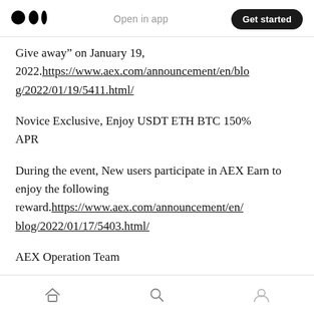Open in app | Get started
Give away” on January 19, 2022.https://www.aex.com/announcement/en/blog/2022/01/19/5411.html/
Novice Exclusive, Enjoy USDT ETH BTC 150% APR
During the event, New users participate in AEX Earn to enjoy the following reward.https://www.aex.com/announcement/en/blog/2022/01/17/5403.html/
AEX Operation Team
Home | Search | Profile